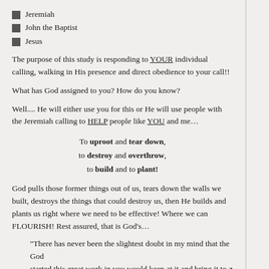Jeremiah
John the Baptist
Jesus
The purpose of this study is responding to YOUR individual calling, walking in His presence and direct obedience to your call!!
What has God assigned to you? How do you know?
Well.... He will either use you for this or He will use people with the Jeremiah calling to HELP people like YOU and me...
To uproot and tear down,
to destroy and overthrow,
to build and to plant!
God pulls those former things out of us, tears down the walls we built, destroys the things that could destroy us, then He builds and plants us right where we need to be effective! Where we can FLOURISH! Rest assured, that is God's plan!
“There has never been the slightest doubt in my mind that the God who started this great work in you would keep at it and bring it to a flourishing finish on the very day Christ Jesus appears.” Philippians 1:6 MSG
More to come this month on the Jeremiah calling! Stay tuned...